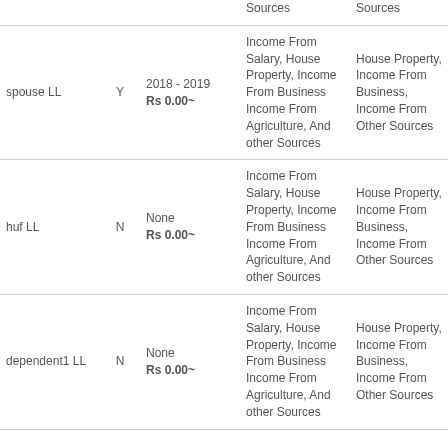|  |  |  | Sources | Sources |
| --- | --- | --- | --- | --- |
| spouse LL | Y | 2018 - 2019
Rs 0.00~ | Income From Salary, House Property, Income From Business Income From Agriculture, And other Sources | House Property, Income From Business, Income From Other Sources |
| huf LL | N | None
Rs 0.00~ | Income From Salary, House Property, Income From Business Income From Agriculture, And other Sources | House Property, Income From Business, Income From Other Sources |
| dependent1 LL | N | None
Rs 0.00~ | Income From Salary, House Property, Income From Business Income From Agriculture, And other Sources | House Property, Income From Business, Income From Other Sources |